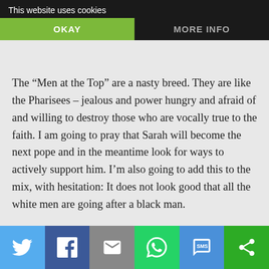This website uses cookies
OKAY
MORE INFO
The “Men at the Top” are a nasty breed. They are like the Pharisees – jealous and power hungry and afraid of and willing to destroy those who are vocally true to the faith. I am going to pray that Sarah will become the next pope and in the meantime look for ways to actively support him. I’m also going to add this to the mix, with hesitation: It does not look good that all the white men are going after a black man.